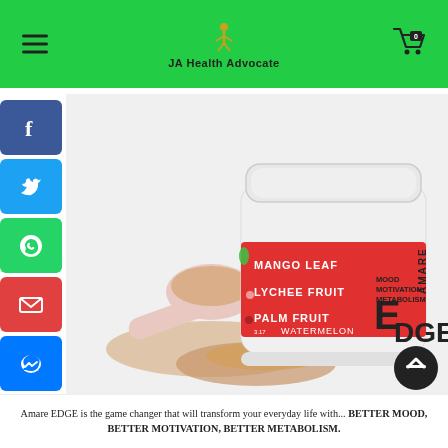JA Health Advocate
[Figure (photo): Amare EDGE supplement container (watermelon flavor) with a scoop of beige powder in front. The label shows: MANGO LEAF, LYCHEE FRUIT, PALM FRUIT, AMARE EDGE, MOOD MOTIVATION METABOLISM, WATERMELON.]
Amare EDGE is the game changer that will transform your everyday life with... BETTER MOOD, BETTER MOTIVATION, BETTER METABOLISM.